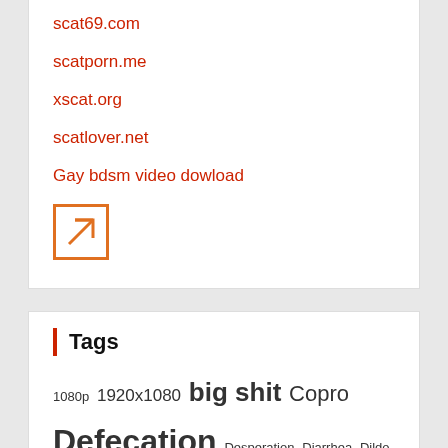scat69.com
scatporn.me
xscat.org
scatlover.net
Gay bdsm video dowload
[Figure (other): Orange bordered box with diagonal arrow icon (external link icon)]
Tags
1080p 1920x1080 big shit Copro Defecation Desperation Diarrhea Dildo Domination Eat shit EFRO enema excrements Extreme Extreme Fetish Farting fetish fisting Full HD-1080p Full HD Scat